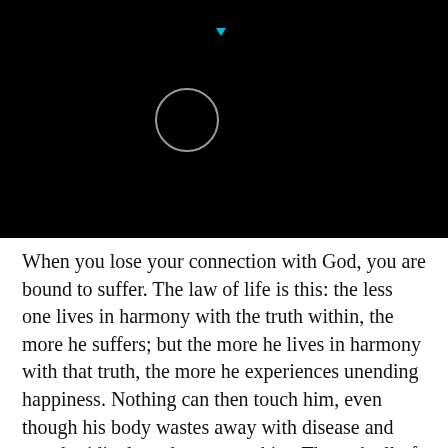[Figure (other): Black background with a white circle outline and a small cyan downward-pointing triangle above]
When you lose your connection with God, you are bound to suffer. The law of life is this: the less one lives in harmony with the truth within, the more he suffers; but the more he lives in harmony with that truth, the more he experiences unending happiness. Nothing can then touch him, even though his body wastes away with disease and people ridicule and persecute him. Through all of life’s ups and downs, he remains blissfully centred in the indwelling Self. The purpose of human life is to find God. That is the only reason for our existence. Job, friends, and material interests are all meaningless in and of themselves. They can never provide you with true happiness, for the simple reason that none of them, in